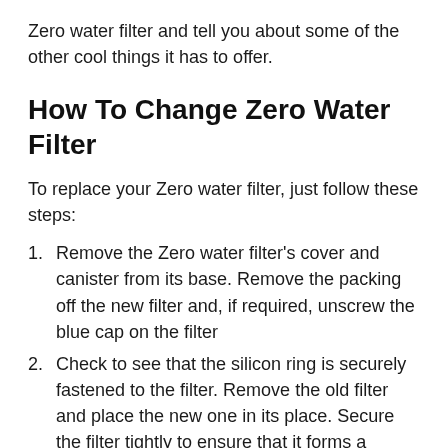Zero water filter and tell you about some of the other cool things it has to offer.
How To Change Zero Water Filter
To replace your Zero water filter, just follow these steps:
Remove the Zero water filter's cover and canister from its base. Remove the packing off the new filter and, if required, unscrew the blue cap on the filter
Check to see that the silicon ring is securely fastened to the filter. Remove the old filter and place the new one in its place. Secure the filter tightly to ensure that it forms a complete